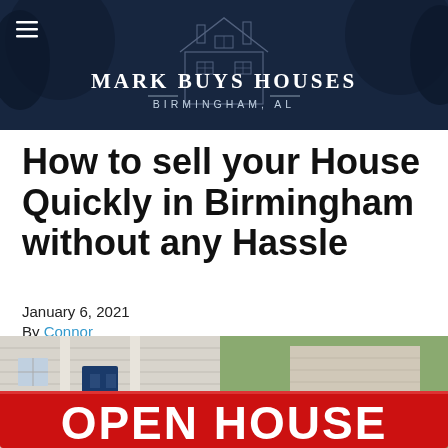[Figure (logo): Mark Buys Houses Birmingham AL website header banner with dark navy blue background showing a house silhouette, hamburger menu icon, and logo text]
How to sell your House Quickly in Birmingham without any Hassle
January 6, 2021
By Connor
[Figure (photo): Open House sign in red and white bold letters in front of a house with white siding, a blue door, and flowers, partially cropped at bottom of page]